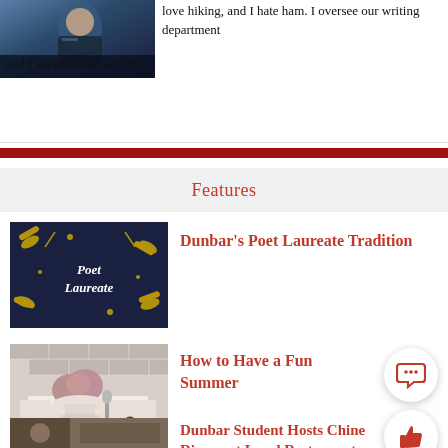[Figure (photo): Person looking down, photo in top-left corner]
love hiking, and I hate ham. I oversee our writing department and I supervise all articles...
[Figure (illustration): Dark navy background with gold scrolls and text Poet Laureate]
Dunbar's Poet Laureate Tradition
[Figure (photo): Ice cream in a glass bowl on a white plate]
How to Have a Fun Summer
[Figure (photo): Chinese dinner restaurant scene]
Dunbar Student Hosts Chinese Dinner at Local Restaurant